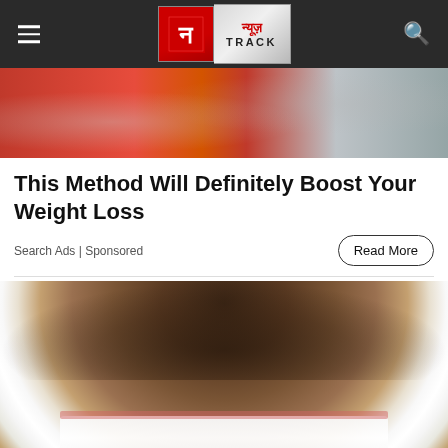न्यूज़ TRACK
[Figure (photo): Advertisement image showing colorful background, top portion of a sponsored article]
This Method Will Definitely Boost Your Weight Loss
Search Ads | Sponsored
[Figure (photo): Close-up photo of a man's mouth showing white teeth and facial stubble]